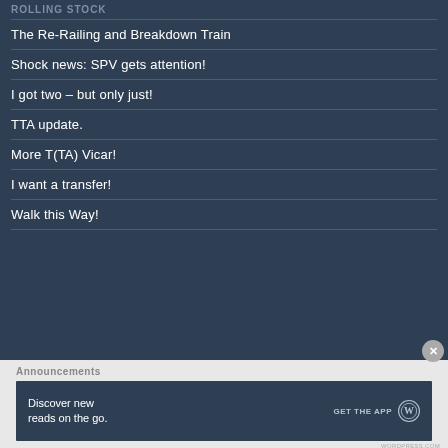ROLLING STOCK
The Re-Railing and Breakdown Train
Shock news: SPV gets attention!
I got two – but only just!
TTA update.
More T(TA) Vicar!
I want a transfer!
Walk this Way!
Announcements
[Figure (infographic): WordPress app advertisement banner: 'Discover new reads on the go.' with GET THE APP button and WordPress logo]